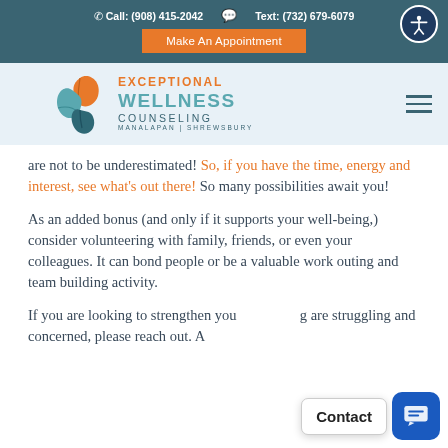Call: (908) 415-2042   Text: (732) 679-6079   Make An Appointment
[Figure (logo): Exceptional Wellness Counseling logo with leaf icons, Manalapan | Shrewsbury]
are not to be underestimated! So, if you have the time, energy and interest, see what's out there! So many possibilities await you!
As an added bonus (and only if it supports your well-being,) consider volunteering with family, friends, or even your colleagues. It can bond people or be a valuable work outing and team building activity.
If you are looking to strengthen you... are struggling and concerned, please reach out. A